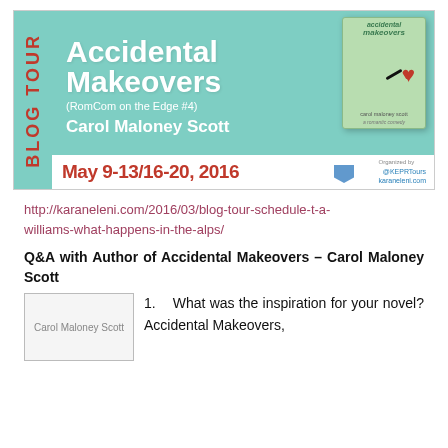[Figure (illustration): Blog tour banner for 'Accidental Makeovers (RomCom on the Edge #4)' by Carol Maloney Scott. Teal/mint background with white title text, red author name area. Dates: May 9-13/16-20, 2016. Book cover image on right. Organized by KEPRTours / karaneleni.com.]
http://karaneleni.com/2016/03/blog-tour-schedule-t-a-williams-what-happens-in-the-alps/
Q&A with Author of Accidental Makeovers – Carol Maloney Scott
[Figure (photo): Photo of Carol Maloney Scott (broken image placeholder shown)]
1.    What was the inspiration for your novel? Accidental Makeovers,